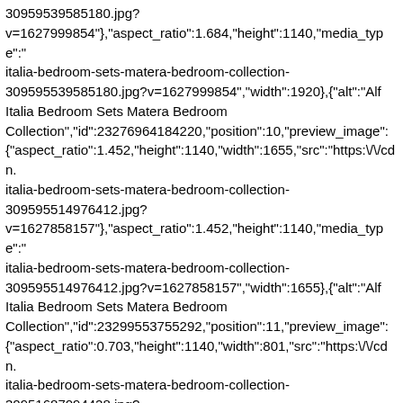30959539585180.jpg?v=1627999854"},"aspect_ratio":1.684,"height":1140,"media_type":"italia-bedroom-sets-matera-bedroom-collection-309595539585180.jpg?v=1627999854","width":1920},{"alt":"Alf Italia Bedroom Sets Matera Bedroom Collection","id":23276964184220,"position":10,"preview_image":{"aspect_ratio":1.452,"height":1140,"width":1655,"src":"https:\/\/cdn.italia-bedroom-sets-matera-bedroom-collection-309595514976412.jpg?v=1627858157"},"aspect_ratio":1.452,"height":1140,"media_type":"italia-bedroom-sets-matera-bedroom-collection-309595514976412.jpg?v=1627858157","width":1655},{"alt":"Alf Italia Bedroom Sets Matera Bedroom Collection","id":23299553755292,"position":11,"preview_image":{"aspect_ratio":0.703,"height":1140,"width":801,"src":"https:\/\/cdn.italia-bedroom-sets-matera-bedroom-collection-30951687094428.jpg?v=1627999654"},"aspect_ratio":0.703,"height":1140,"media_type":"italia-bedroom-sets-matera-bedroom-collection-30951687094428.jpg?v=1627999654","width":801}],"requires_selling_plan":false,"selling_[]},"content":"\u003cdiv\u003e\n\u003cdiv\u003e\n\u003ctable width=\"100%\"\u003e\n\u003ctbody\u003e\n\u003ctr\u003e\n\u003ctd style=\"width:34.1349641487 5735%;\"\u003eBrand\u003c\/td\u003e\n\u003ctd style=\"width: